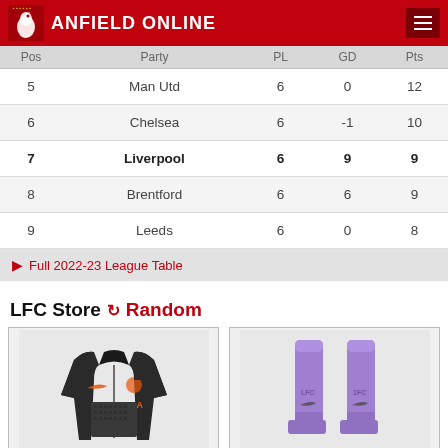Anfield Online
| Pos | Party | PL | GD | Pts |
| --- | --- | --- | --- | --- |
| 5 | Man Utd | 6 | 0 | 12 |
| 6 | Chelsea | 6 | -1 | 10 |
| 7 | Liverpool | 6 | 9 | 9 |
| 8 | Brentford | 6 | 6 | 9 |
| 9 | Leeds | 6 | 0 | 8 |
Full 2022-23 League Table
LFC Store Random
[Figure (photo): Black Nike Liverpool AXA training jacket]
[Figure (photo): Purple/lilac LFC Nike socks, pair shown]